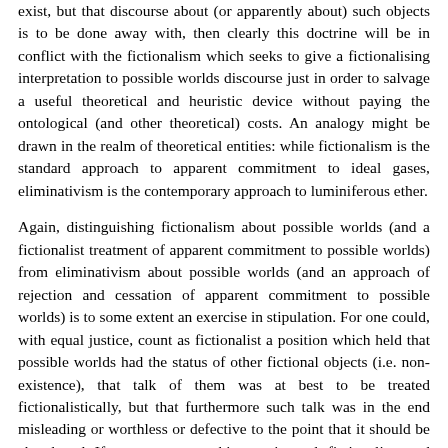exist, but that discourse about (or apparently about) such objects is to be done away with, then clearly this doctrine will be in conflict with the fictionalism which seeks to give a fictionalising interpretation to possible worlds discourse just in order to salvage a useful theoretical and heuristic device without paying the ontological (and other theoretical) costs. An analogy might be drawn in the realm of theoretical entities: while fictionalism is the standard approach to apparent commitment to ideal gases, eliminativism is the contemporary approach to luminiferous ether.
Again, distinguishing fictionalism about possible worlds (and a fictionalist treatment of apparent commitment to possible worlds) from eliminativism about possible worlds (and an approach of rejection and cessation of apparent commitment to possible worlds) is to some extent an exercise in stipulation. For one could, with equal justice, count as fictionalist a position which held that possible worlds had the status of other fictional objects (i.e. non-existence), that talk of them was at best to be treated fictionalistically, but that furthermore such talk was in the end misleading or worthless or defective to the point that it should be abandoned. If one were to go this way instead, fictionalism and eliminativism would overlap. Including in fictionalism a commitment to the worth of possible-worlds discourse would rule out the view just outlined as a fictionalist, as opposed to eliminativist, position.